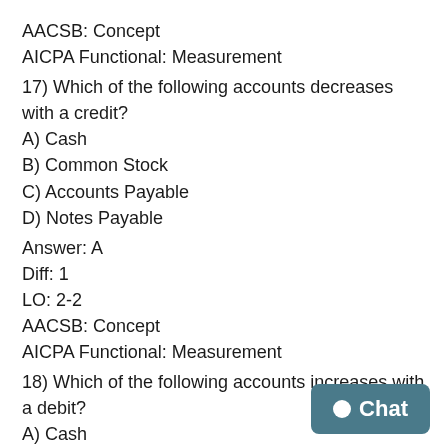AACSB: Concept
AICPA Functional: Measurement
17) Which of the following accounts decreases with a credit?
A) Cash
B) Common Stock
C) Accounts Payable
D) Notes Payable
Answer: A
Diff: 1
LO: 2-2
AACSB: Concept
AICPA Functional: Measurement
18) Which of the following accounts increases with a debit?
A) Cash